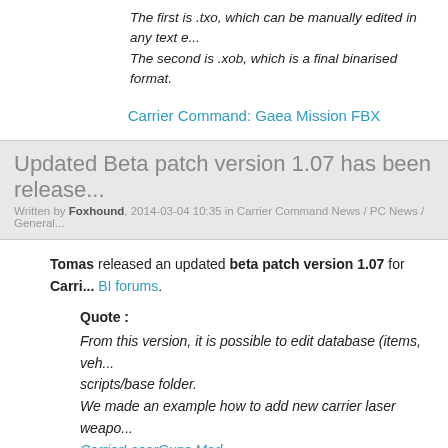The first is .txo, which can be manually edited in any text e... The second is .xob, which is a final binarised format.
Carrier Command: Gaea Mission FBX
Updated Beta patch version 1.07 has been released
Written by Foxhound, 2014-03-04 10:35 in Carrier Command News / PC News / General
Tomas released an updated beta patch version 1.07 for Carri... BI forums.
Quote : From this version, it is possible to edit database (items, veh... scripts/base folder. We made an example how to add new carrier laser weapo... CarrierLaserGuns Mod This version does include updated SDK (workbech).
Changelog